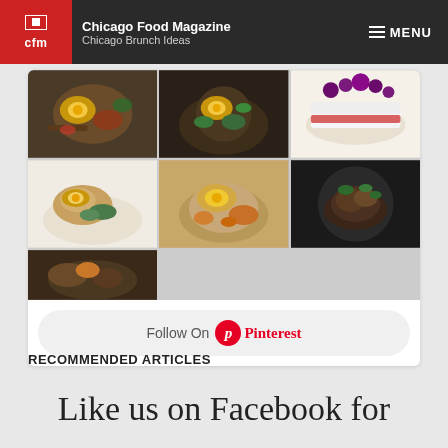Chicago Food Magazine — Chicago Brunch Ideas — MENU
[Figure (photo): Grid of 6 food photos showing various brunch dishes including fried eggs on toast, avocado bowls, pancakes with berries, and spiced dishes. Below the grid is a 'Follow On Pinterest' button.]
RECOMMENDED ARTICLES
Like us on Facebook for